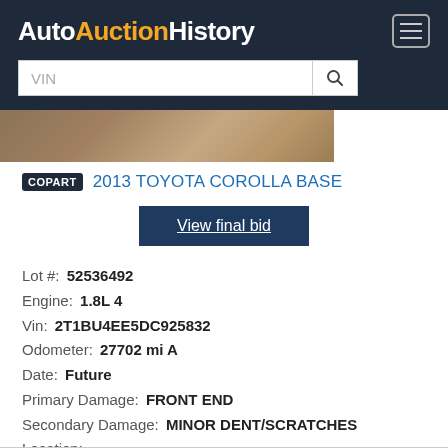AutoAuctionHistory
[Figure (photo): Partial view of a car surface, brownish/tan color, close-up shot]
COPART 2013 TOYOTA COROLLA BASE
View final bid
Lot #: 52536492
Engine: 1.8L 4
Vin: 2T1BU4EE5DC925832
Odometer: 27702 mi A
Date: Future
Primary Damage: FRONT END
Secondary Damage: MINOR DENT/SCRATCHES
Location:
Sale docs: MA ST